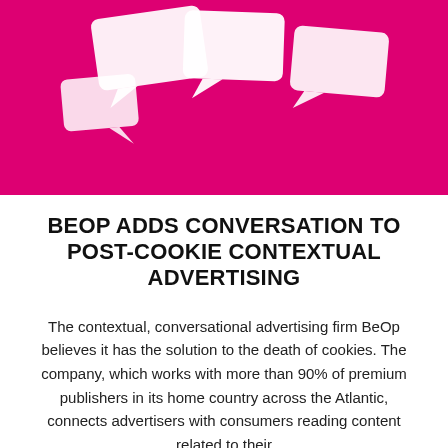[Figure (photo): White paper speech bubble cutouts arranged on a vivid magenta/pink background, photographed from above]
BEOP ADDS CONVERSATION TO POST-COOKIE CONTEXTUAL ADVERTISING
The contextual, conversational advertising firm BeOp believes it has the solution to the death of cookies. The company, which works with more than 90% of premium publishers in its home country across the Atlantic, connects advertisers with consumers reading content related to their